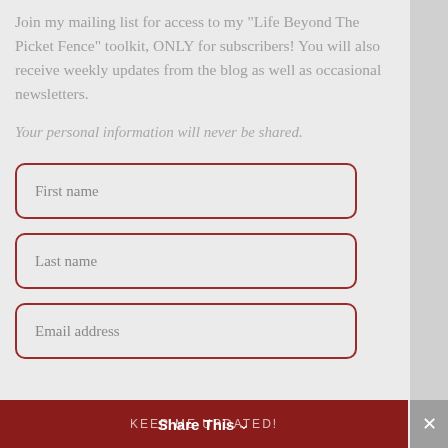Join my mailing list for access to my "Life Beyond The Picket Fence" toolkit, ONLY for subscribers! You will also receive weekly updates from the blog as well as occasional newsletters.
Your personal information will never be shared.
First name
Last name
Email address
KEEP ME UPDATED! / Share This